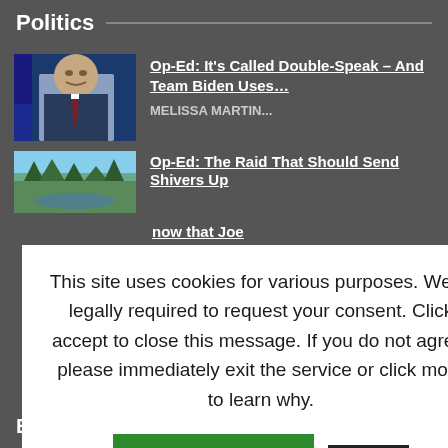Politics
Op-Ed: It's Called Double-Speak – And Team Biden Uses…
MELISSA MARTIN...
Op-Ed: The Raid That Should Send Shivers Up
This site uses cookies for various purposes. We're legally required to request your consent. Click accept to close this message. If you do not agree, please immediately exit the service or click more to learn why.
Accept
More
now that Joe
At Mar-a-Lago
Business